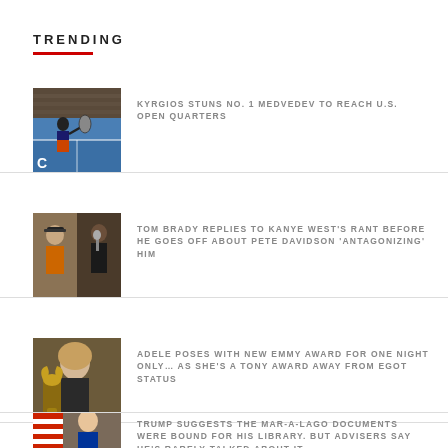TRENDING
[Figure (photo): Tennis player (Kyrgios) in action on court, orange shorts]
KYRGIOS STUNS NO. 1 MEDVEDEV TO REACH U.S. OPEN QUARTERS
[Figure (photo): Tom Brady in orange shirt and Kanye West singing into microphone]
TOM BRADY REPLIES TO KANYE WEST'S RANT BEFORE HE GOES OFF ABOUT PETE DAVIDSON 'ANTAGONIZING' HIM
[Figure (photo): Adele posing with Emmy Award]
ADELE POSES WITH NEW EMMY AWARD FOR ONE NIGHT ONLY… AS SHE'S A TONY AWARD AWAY FROM EGOT STATUS
[Figure (photo): Trump at podium with American flag]
TRUMP SUGGESTS THE MAR-A-LAGO DOCUMENTS WERE BOUND FOR HIS LIBRARY. BUT ADVISERS SAY HE'S RARELY TALKED ABOUT IT.